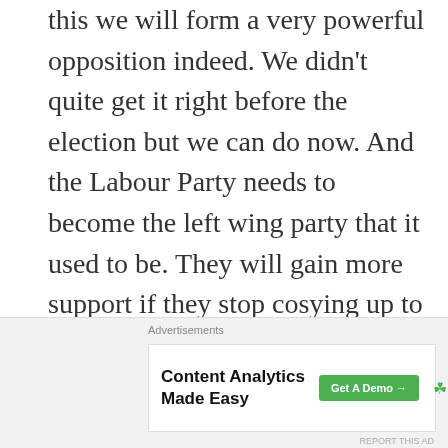this we will form a very powerful opposition indeed. We didn't quite get it right before the election but we can do now. And the Labour Party needs to become the left wing party that it used to be. They will gain more support if they stop cosying up to austerity ideas and plans. They need to start saying no. By supporting all people again not just working people. We also need to look at the SNP and learn from them. They started as a small minority party but have grown massively.
We can survive this, and we will by joining...
[Figure (other): Advertisement banner: Content Analytics Made Easy — Parse.ly, with a green 'Get A Demo →' button]